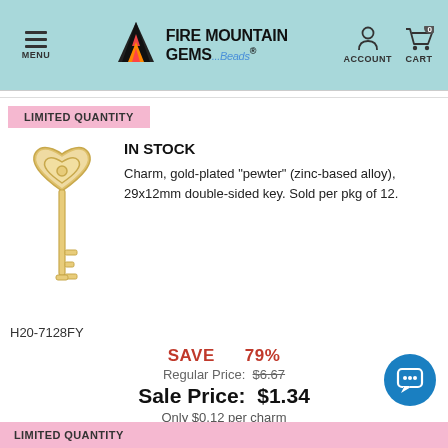Fire Mountain Gems and Beads – MENU | ACCOUNT | CART 0
LIMITED QUANTITY
IN STOCK
[Figure (illustration): Gold-plated pewter heart-topped skeleton key charm, 29x12mm, double-sided]
Charm, gold-plated "pewter" (zinc-based alloy), 29x12mm double-sided key. Sold per pkg of 12.
H20-7128FY
SAVE 79%
Regular Price: $6.67
Sale Price: $1.34
Only $0.12 per charm
LIMITED QUANTITY